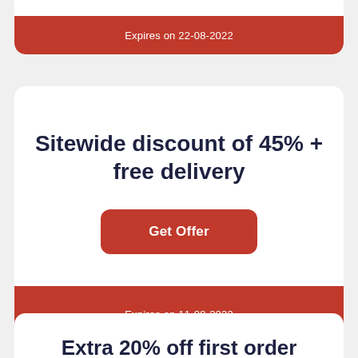Expires on 22-08-2022
Sitewide discount of 45% + free delivery
Get Offer
Expires on 11-08-2022
Extra 20% off first order